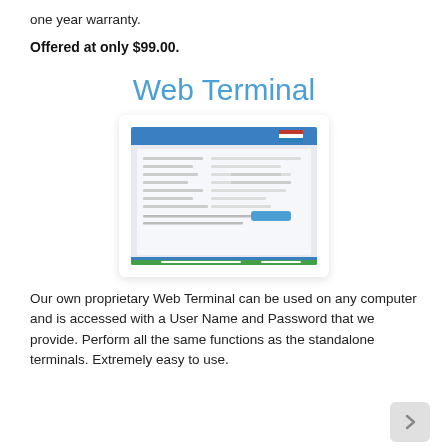one year warranty.
Offered at only $99.00.
Web Terminal
[Figure (screenshot): Screenshot of a web terminal application showing a form interface with blue navigation bar, data entry fields, and a green status bar at the bottom.]
Our own proprietary Web Terminal can be used on any computer and is accessed with a User Name and Password that we provide. Perform all the same functions as the standalone terminals. Extremely easy to use.